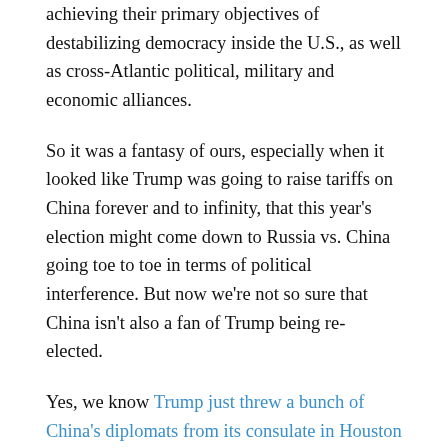achieving their primary objectives of destabilizing democracy inside the U.S., as well as cross-Atlantic political, military and economic alliances.
So it was a fantasy of ours, especially when it looked like Trump was going to raise tariffs on China forever and to infinity, that this year's election might come down to Russia vs. China going toe to toe in terms of political interference. But now we're not so sure that China isn't also a fan of Trump being re-elected.
Yes, we know Trump just threw a bunch of China's diplomats from its consulate in Houston out of the country, accusing them of spying. And Secretary of State Mike Pompeo gave a speech at the Nixon library in California, in which he contends that President Nixon's good intentions in opening China to the world should now be regarded as completely failed policy.